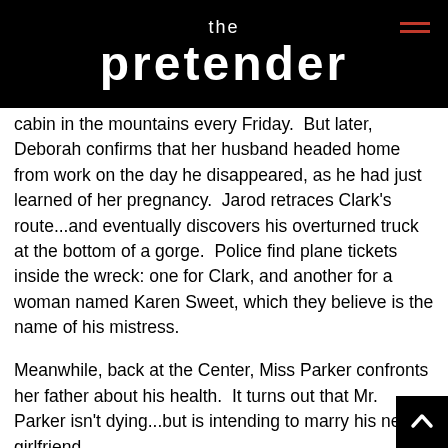the pretender
cabin in the mountains every Friday.  But later, Deborah confirms that her husband headed home from work on the day he disappeared, as he had just learned of her pregnancy.  Jarod retraces Clark's route...and eventually discovers his overturned truck at the bottom of a gorge.  Police find plane tickets inside the wreck: one for Clark, and another for a woman named Karen Sweet, which they believe is the name of his mistress.
Meanwhile, back at the Center, Miss Parker confronts her father about his health.  It turns out that Mr. Parker isn't dying...but is intending to marry his new girlfriend.
Jarod eventually suspects that Claire, Matthew and Grady are responsible for their professor's demise.  He once again turns to the class for answers.  But this time, he manipulates them.  Jarod presents a